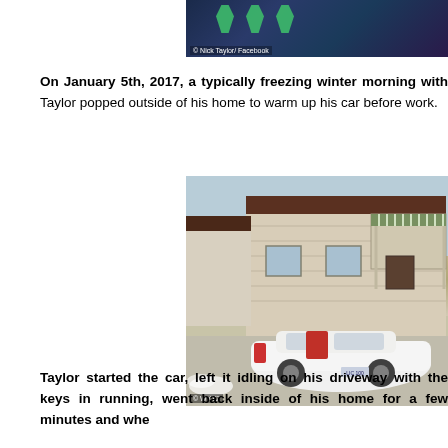[Figure (photo): Photo of dark jacket with green ribbon logos, credited to Nick Taylor/Facebook]
On January 5th, 2017, a typically freezing winter morning with Taylor popped outside of his home to warm up his car before work.
[Figure (photo): Photo of a white sedan car parked in a residential driveway in front of a house with a green-striped awning, exhaust visible. Credited to WXYZ.]
Taylor started the car, left it idling on his driveway with the keys in running, went back inside of his home for a few minutes and whe